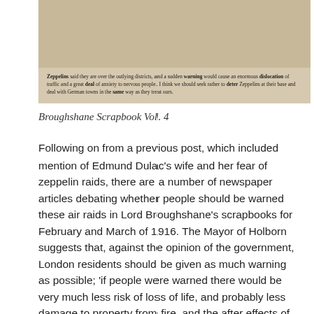[Figure (photo): A scanned newspaper clipping with dense text, partially visible. The text discusses Zeppelins, warning the public, traffic disruption, and anxiety among people. The clipping appears to be mounted on a tan/beige background.]
Broughshane Scrapbook Vol. 4
Following on from a previous post, which included mention of Edmund Dulac's wife and her fear of zeppelin raids, there are a number of newspaper articles debating whether people should be warned these air raids in Lord Broughshane's scrapbooks for February and March of 1916. The Mayor of Holborn suggests that, against the opinion of the government, London residents should be given as much warning as possible; 'if people were warned there would be very much less risk of loss of life, and probably less damage to property from fire, and the after effects of explosions'. In contrast, the Mayor of Kensington agrees with the government; 'I do not deem it to be practicable or desirable that a general warning should be sent throughout London as soon as the Authorities have notice that Zeppelins are on their way.' He continues to state that 'were every part of the